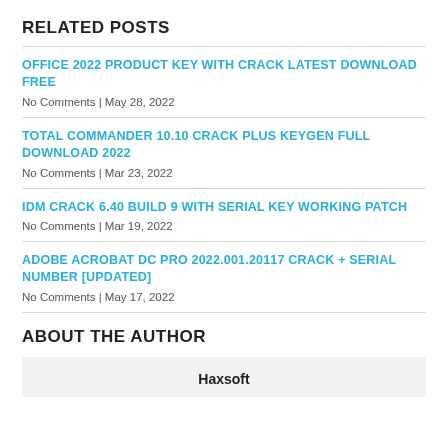RELATED POSTS
OFFICE 2022 PRODUCT KEY WITH CRACK LATEST DOWNLOAD FREE
No Comments | May 28, 2022
TOTAL COMMANDER 10.10 CRACK PLUS KEYGEN FULL DOWNLOAD 2022
No Comments | Mar 23, 2022
IDM CRACK 6.40 BUILD 9 WITH SERIAL KEY WORKING PATCH
No Comments | Mar 19, 2022
ADOBE ACROBAT DC PRO 2022.001.20117 CRACK + SERIAL NUMBER [UPDATED]
No Comments | May 17, 2022
ABOUT THE AUTHOR
Haxsoft